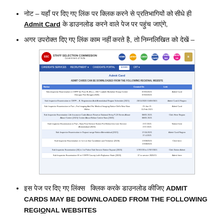नोट – यहाँ पर दिए गए लिंक पर क्लिक करने से प्रतिभागियों को सीधे ही Admit Card के डाउनलोड करने वाले पेज पर पहुंच जाएंगे,
अगर उपरोक्त दिए गए लिंक काम नहीं करते है, तो निम्नलिखित को देखें –
[Figure (screenshot): Screenshot of Staff Selection Commission (SSC) website showing the Admit Card download page with a table listing regional websites for downloading admit cards.]
इस पेज पर दिए गए लिंक्स  क्लिक करके डाउनलोड कीजिए ADMIT CARDS MAY BE DOWNLOADED FROM THE FOLLOWING REGIONAL WEBSITES